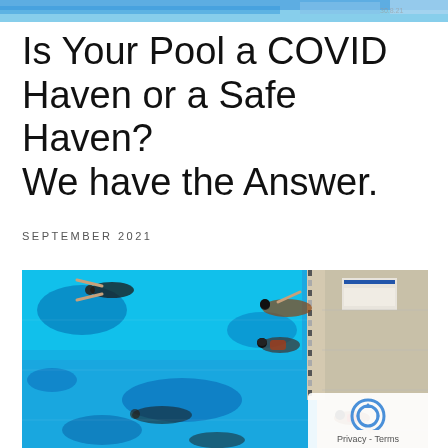[Figure (photo): Partial photo strip at top of page, showing a pool or water scene]
Is Your Pool a COVID Haven or a Safe Haven? We have the Answer.
SEPTEMBER 2021
[Figure (photo): Aerial overhead view of a swimming pool with multiple swimmers in bright blue water, with lane dividers and pool deck visible on the right side. A reCAPTCHA / Privacy - Terms badge is overlaid in the bottom right corner.]